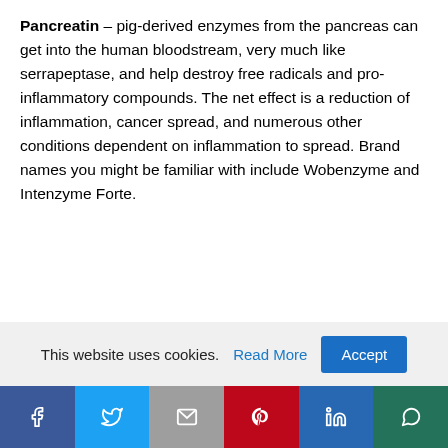Pancreatin – pig-derived enzymes from the pancreas can get into the human bloodstream, very much like serrapeptase, and help destroy free radicals and pro-inflammatory compounds. The net effect is a reduction of inflammation, cancer spread, and numerous other conditions dependent on inflammation to spread. Brand names you might be familiar with include Wobenzyme and Intenzyme Forte.
Tumeric – this spice is high in curcumin, a potent natural anti-inflammatory agent compared in
This website uses cookies. Read More Accept